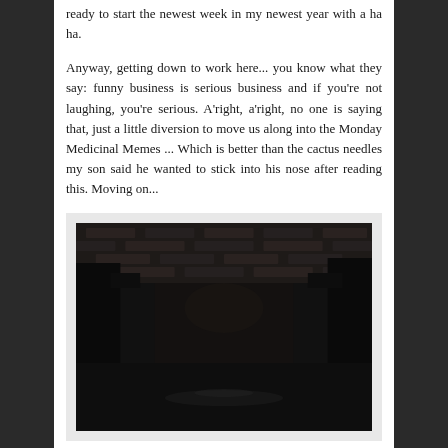ready to start the newest week in my newest year with a ha ha.
Anyway, getting down to work here... you know what they say: funny business is serious business and if you're not laughing, you're serious. A'right, a'right, no one is saying that, just a little diversion to move us along into the Monday Medicinal Memes ... Which is better than the cactus needles my son said he wanted to stick into his nose after reading this. Moving on...
[Figure (photo): Dark photograph showing what appears to be a person standing in a dimly lit outdoor or indoor setting with a brick wall visible in the background.]